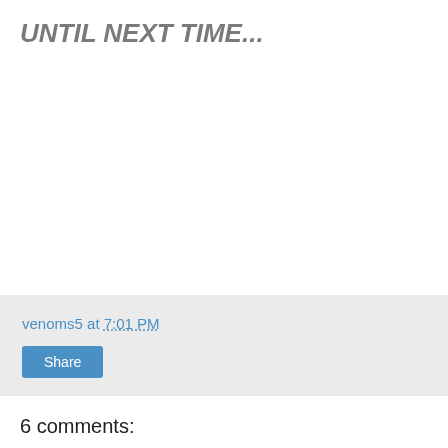UNTIL NEXT TIME...
venoms5 at 7:01 PM
Share
6 comments: